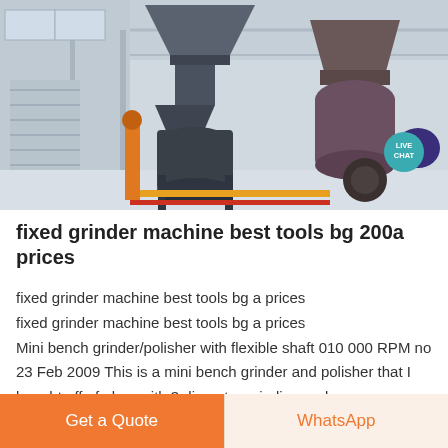[Figure (photo): Industrial grinding/milling machines inside a large factory warehouse with metal framework, hoppers, and grinding equipment on a polished floor.]
fixed grinder machine best tools bg 200a prices
fixed grinder machine best tools bg a prices fixed grinder machine best tools bg a prices Mini bench grinder/polisher with flexible shaft 010 000 RPM no 23 Feb 2009 This is a mini bench grinder and polisher that I bought off of ebay with 3 diameter grinding and
Get a Quote
WhatsApp